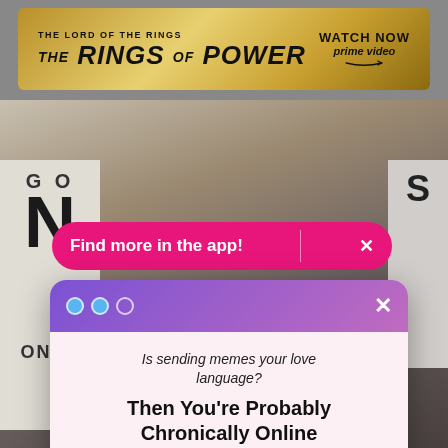[Figure (screenshot): Advertisement banner for The Lord of the Rings: The Rings of Power on Prime Video with gold background]
[Figure (photo): Background photo of a person wearing a cap with a red emblem at Comic-Con event]
Find more in the app! ×
[Figure (screenshot): Newsletter signup modal with purple gradient header, pink body. Text: Is sending memes your love language? Then You're Probably Chronically Online. Join Us. Email address input field, Sign Me Up! button, No Thanks link.]